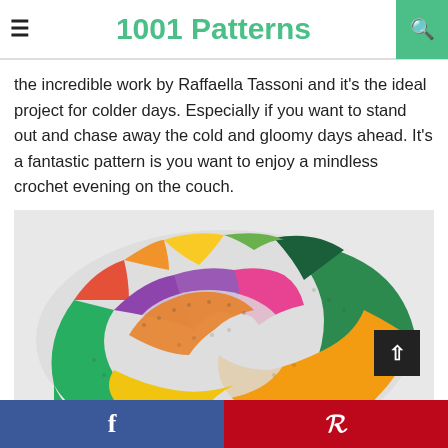1001 Patterns
the incredible work by Raffaella Tassoni and it's the ideal project for colder days. Especially if you want to stand out and chase away the cold and gloomy days ahead. It's a fantastic pattern is you want to enjoy a mindless crochet evening on the couch.
[Figure (photo): A colorful rainbow crochet infinity scarf looped on a white background, showing green, teal, purple, pink, yellow, and orange yarn colors.]